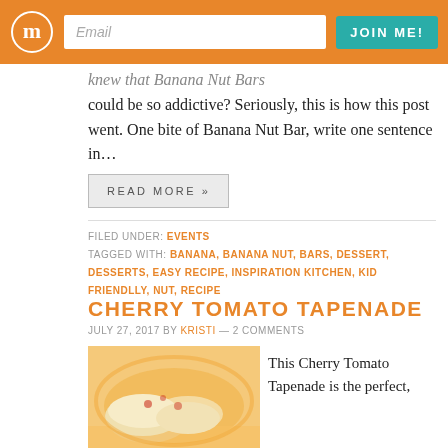Email | JOIN ME!
knew that Banana Nut Bars could be so addictive? Seriously, this is how this post went. One bite of Banana Nut Bar, write one sentence in...
READ MORE »
FILED UNDER: EVENTS
TAGGED WITH: BANANA, BANANA NUT, BARS, DESSERT, DESSERTS, EASY RECIPE, INSPIRATION KITCHEN, KID FRIENDLLY, NUT, RECIPE
CHERRY TOMATO TAPENADE
JULY 27, 2017 BY KRISTI — 2 COMMENTS
[Figure (photo): Cherry tomato tapenade dish photo]
This Cherry Tomato Tapenade is the perfect,